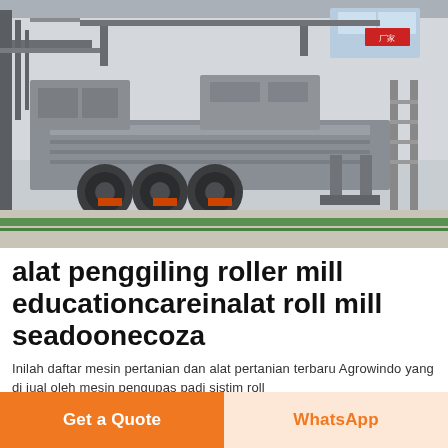[Figure (photo): Industrial factory scene showing a large gray heavy-duty mobile machinery/truck chassis parked inside a factory building with concrete floor and green stripe markings. Large wheels visible, metal framework overhead, industrial equipment in background.]
alat penggiling roller mill educationcareinalat roll mill seadoonecoza
Inilah daftar mesin pertanian dan alat pertanian terbaru Agrowindo yang di jual oleh mesin pengupas padi sistim roll
Get a Quote
WhatsApp